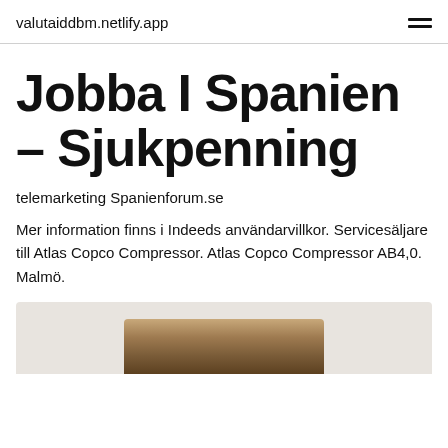valutaiddbm.netlify.app
Jobba I Spanien – Sjukpenning
telemarketing Spanienforum.se
Mer information finns i Indeeds användarvillkor. Servicesäljare till Atlas Copco Compressor. Atlas Copco Compressor AB4,0. Malmö.
[Figure (photo): Partial photo visible at the bottom of the page showing a warm-toned landscape or earth-toned image, cropped at the bottom edge.]